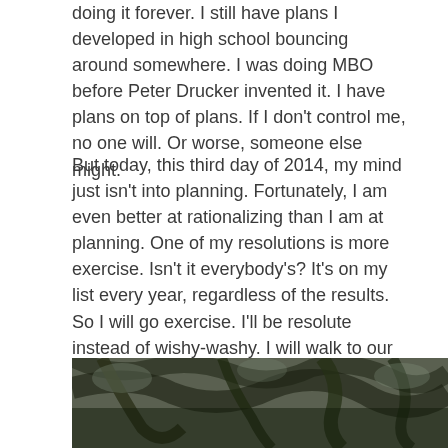doing it forever. I still have plans I developed in high school bouncing around somewhere. I was doing MBO before Peter Drucker invented it. I have plans on top of plans. If I don't control me, no one will. Or worse, someone else might.
But today, this third day of 2014, my mind just isn't into planning. Fortunately, I am even better at rationalizing than I am at planning. One of my resolutions is more exercise. Isn't it everybody's? It's on my list every year, regardless of the results. So I will go exercise. I'll be resolute instead of wishy-washy. I will walk to our mailbox.
Join me as I take a walk on the wild side.
[Figure (photo): Photograph of tree branches and bark, dark nature scene visible at the bottom of the page]